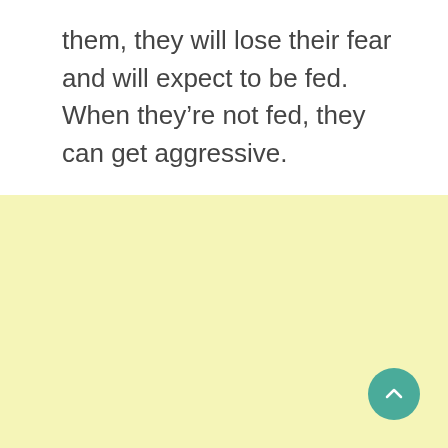them, they will lose their fear and will expect to be fed. When they're not fed, they can get aggressive.
[Figure (other): Scroll-to-top button: circular teal button with a white upward chevron arrow, positioned in the bottom-right corner of a light yellow section.]